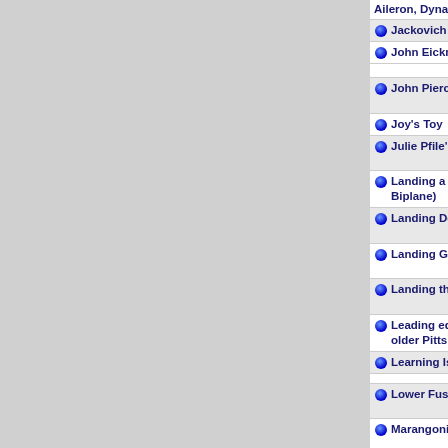| Title | Publication | Date |  |
| --- | --- | --- | --- |
| Aileron, Dynamic Counter-Balances on Elevators |  |  |  |
| Jackovich sets time-to-climb record | Sport Aviation | 5/1991 |  |
| John Eickmeier's Pitts Special | Sport Aviation | 09/1992 |  |
| John Pierce's Pitts | Sport Aerobatics | 8/1982 |  |
| Joy's Toy | Sport Aviation | 5/1961 |  |
| Julie Pfile's S1T | Sport Aerobatics | 11/1986 |  |
| Landing a Pitts (Or Other Short-Coupled Biplane) | Sport Aerobatics | 5/1990 |  |
| Landing Dead - Stick in Pitts | Sport Aerobatics | 5/1989 |  |
| Landing Gear & Brake Problems | Sport Aerobatics | 7/1979 |  |
| Landing the Pitts | Sport Aerobatics | 6/1987 |  |
| Leading edge tube on horizontal stab breaks -- older Pitts | Sport Aerobatics | 2/1993 |  |
| Learning Is The Pitts | Sport Aviation | 09/1981 |  |
| Lower Fuselage Diagonal Vibration Fix | Sport Aerobatics | 8/1979 |  |
| Marangoni Italian S-1T with IO540 | Sport Aerobatics | 7/1993 |  |